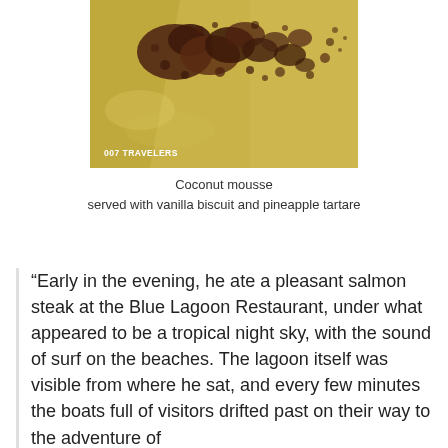[Figure (photo): Photo of a dessert (coconut mousse) with chocolate crumble scattered on a light background, with watermark text '007 TRAVELERS' in white at bottom left]
Coconut mousse
served with vanilla biscuit and pineapple tartare
“Early in the evening, he ate a pleasant salmon steak at the Blue Lagoon Restaurant, under what appeared to be a tropical night sky, with the sound of surf on the beaches. The lagoon itself was visible from where he sat, and every few minutes the boats full of visitors drifted past on their way to the adventure of